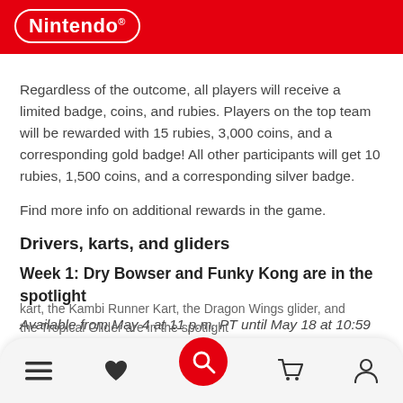Nintendo®
Regardless of the outcome, all players will receive a limited badge, coins, and rubies. Players on the top team will be rewarded with 15 rubies, 3,000 coins, and a corresponding gold badge! All other participants will get 10 rubies, 1,500 coins, and a corresponding silver badge.
Find more info on additional rewards in the game.
Drivers, karts, and gliders
Week 1: Dry Bowser and Funky Kong are in the spotlight
Available from May 4 at 11 p.m. PT until May 18 at 10:59 p.m. PT
kart, the Kambi Runner Kart, the Dragon Wings glider, and the Tropical Glider are in the spotlight